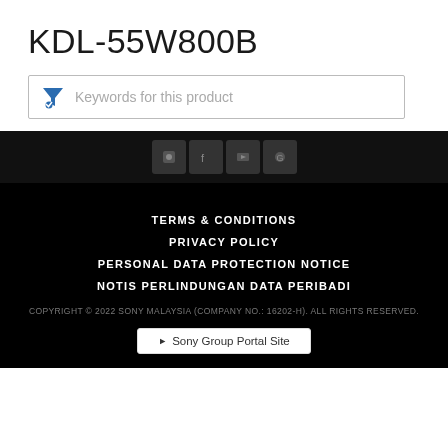KDL-55W800B
[Figure (screenshot): Search/filter input bar with blue funnel icon and placeholder text 'Keywords for this product']
[Figure (screenshot): Dark band with social media icon buttons]
TERMS & CONDITIONS
PRIVACY POLICY
PERSONAL DATA PROTECTION NOTICE
NOTIS PERLINDUNGAN DATA PERIBADI
COPYRIGHT © 2022 SONY MALAYSIA (COMPANY NO.: 16202-H). ALL RIGHTS RESERVED.
▶ Sony Group Portal Site